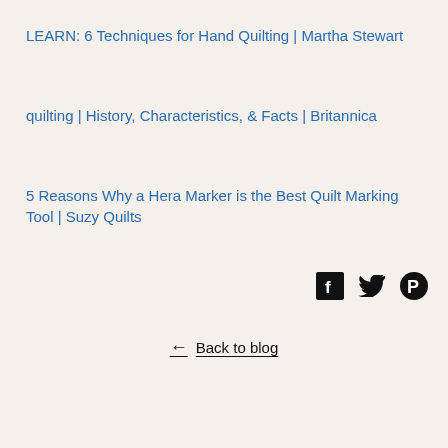LEARN: 6 Techniques for Hand Quilting | Martha Stewart
quilting | History, Characteristics, & Facts | Britannica
5 Reasons Why a Hera Marker is the Best Quilt Marking Tool | Suzy Quilts
[Figure (other): Social media share icons: Facebook (f), Twitter (bird), Pinterest (P)]
← Back to blog